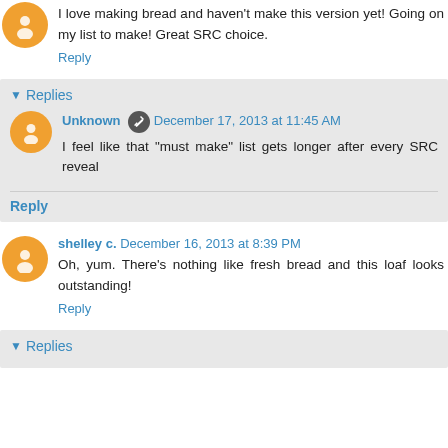I love making bread and haven't make this version yet! Going on my list to make! Great SRC choice.
Reply
Replies
Unknown  December 17, 2013 at 11:45 AM
I feel like that "must make" list gets longer after every SRC reveal
Reply
shelley c.  December 16, 2013 at 8:39 PM
Oh, yum. There's nothing like fresh bread and this loaf looks outstanding!
Reply
Replies